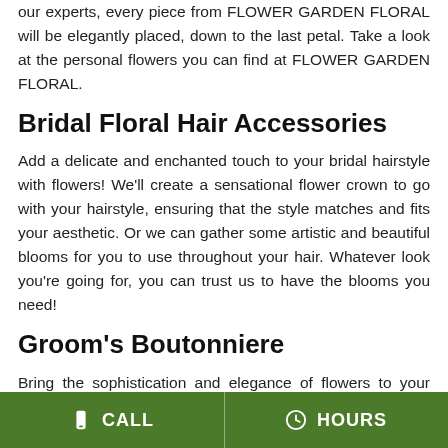our experts, every piece from FLOWER GARDEN FLORAL will be elegantly placed, down to the last petal. Take a look at the personal flowers you can find at FLOWER GARDEN FLORAL.
Bridal Floral Hair Accessories
Add a delicate and enchanted touch to your bridal hairstyle with flowers! We'll create a sensational flower crown to go with your hairstyle, ensuring that the style matches and fits your aesthetic. Or we can gather some artistic and beautiful blooms for you to use throughout your hair. Whatever look you're going for, you can trust us to have the blooms you need!
Groom's Boutonniere
Bring the sophistication and elegance of flowers to your groom with a handsomely designed
CALL   HOURS